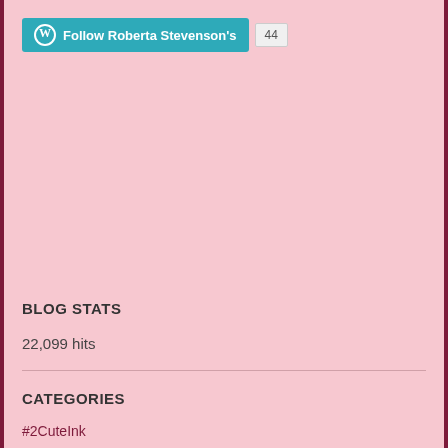[Figure (other): WordPress Follow button for Roberta Stevenson's blog with follower count badge showing 44]
BLOG STATS
22,099 hits
CATEGORIES
#2CuteInk
#All Dressed Up